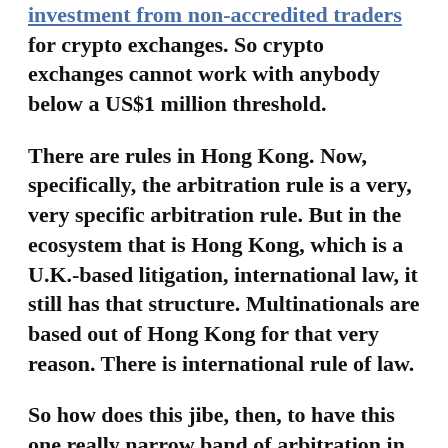investment from non-accredited traders for crypto exchanges. So crypto exchanges cannot work with anybody below a US$1 million threshold.
There are rules in Hong Kong. Now, specifically, the arbitration rule is a very, very specific arbitration rule. But in the ecosystem that is Hong Kong, which is a U.K.-based litigation, international law, it still has that structure. Multinationals are based out of Hong Kong for that very reason. There is international rule of law.
So how does this jibe, then, to have this one really narrow band of arbitration in Hong Kong? Because I don't want to malign Hong